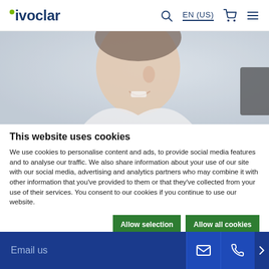ivoclar | EN (US)
[Figure (photo): Close-up side profile of a smiling man in a white shirt, looking at something off-screen to the right, with a blurred background.]
This website uses cookies
We use cookies to personalise content and ads, to provide social media features and to analyse our traffic. We also share information about your use of our site with our social media, advertising and analytics partners who may combine it with other information that you've provided to them or that they've collected from your use of their services. You consent to our cookies if you continue to use our website.
Allow selection | Allow all cookies
Email us